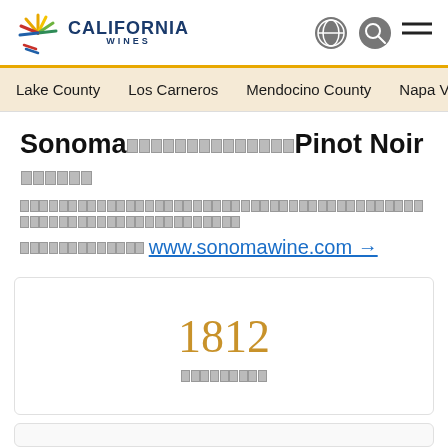California Wines — website header with logo and navigation icons
Lake County  Los Carneros  Mendocino County  Napa Val[ley]
Sonoma [garbled] Pinot Noir [garbled]
[garbled text] www.sonomawine.com →
1812 [garbled label]